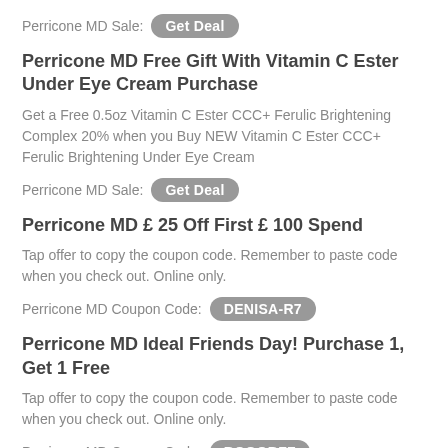Perricone MD Sale: Get Deal
Perricone MD Free Gift With Vitamin C Ester Under Eye Cream Purchase
Get a Free 0.5oz Vitamin C Ester CCC+ Ferulic Brightening Complex 20% when you Buy NEW Vitamin C Ester CCC+ Ferulic Brightening Under Eye Cream
Perricone MD Sale: Get Deal
Perricone MD £ 25 Off First £ 100 Spend
Tap offer to copy the coupon code. Remember to paste code when you check out. Online only.
Perricone MD Coupon Code: DENISA-R7
Perricone MD Ideal Friends Day! Purchase 1, Get 1 Free
Tap offer to copy the coupon code. Remember to paste code when you check out. Online only.
Perricone MD Coupon Code: BOGOBFF